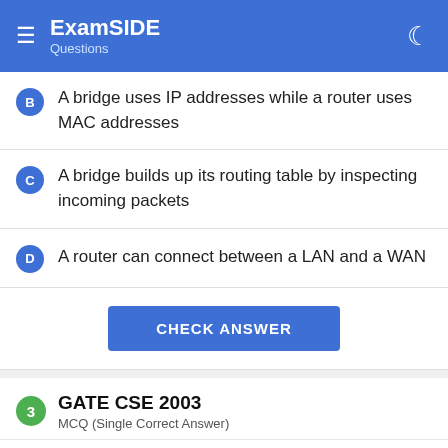ExamSIDE Questions
B  A bridge uses IP addresses while a router uses MAC addresses
C  A bridge builds up its routing table by inspecting incoming packets
D  A router can connect between a LAN and a WAN
CHECK ANSWER
3  GATE CSE 2003
MCQ (Single Correct Answer)
Which of the following assertions is FALSE about the Internet Protocol (IP)?